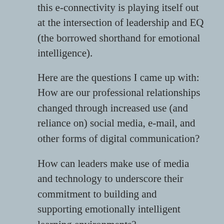this e-connectivity is playing itself out at the intersection of leadership and EQ (the borrowed shorthand for emotional intelligence).
Here are the questions I came up with: How are our professional relationships changed through increased use (and reliance on) social media, e-mail, and other forms of digital communication?
How can leaders make use of media and technology to underscore their commitment to building and supporting emotionally intelligent learning environments?
What are you experiencing at the intersection of school leadership, technology use and emotional